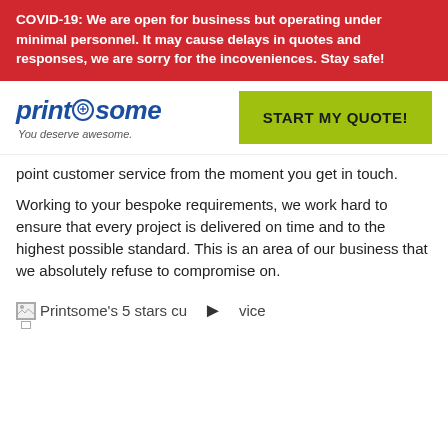COVID-19: We are open for business but operating under minimal personnel. It may cause delays in quotes and responses, we are sorry for the incoveniences. Stay safe!
[Figure (logo): Printsome logo with circular icon and tagline 'You deserve awesome.']
START MY QUOTE!
point customer service from the moment you get in touch.
Working to your bespoke requirements, we work hard to ensure that every project is delivered on time and to the highest possible standard. This is an area of our business that we absolutely refuse to compromise on.
[Figure (screenshot): Printsome's 5 stars customer service video thumbnail with play button and partial text 'vice']